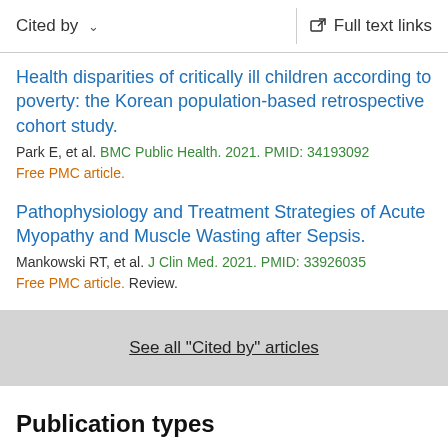Cited by   ∨   Full text links
Health disparities of critically ill children according to poverty: the Korean population-based retrospective cohort study.
Park E, et al. BMC Public Health. 2021. PMID: 34193092
Free PMC article.
Pathophysiology and Treatment Strategies of Acute Myopathy and Muscle Wasting after Sepsis.
Mankowski RT, et al. J Clin Med. 2021. PMID: 33926035
Free PMC article. Review.
See all "Cited by" articles
Publication types